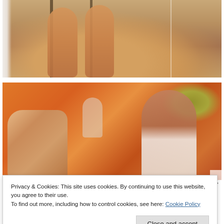[Figure (photo): Photo of a person's bare legs and feet sitting on a chair in a stone/concrete setting, with a white decorative metal fence visible in the background.]
[Figure (photo): Photo of a young woman in a white top standing in front of a colorful painted mural/artwork showing figures. A sculptural piece is visible on the left side.]
Privacy & Cookies: This site uses cookies. By continuing to use this website, you agree to their use.
To find out more, including how to control cookies, see here: Cookie Policy
Close and accept